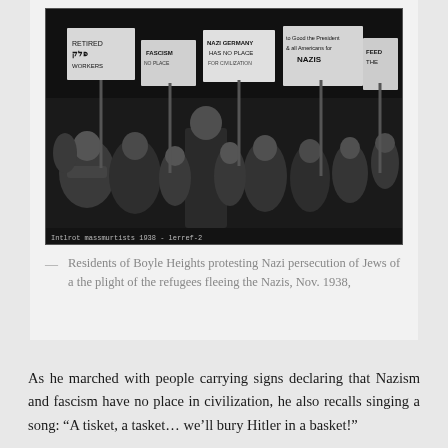[Figure (photo): Black and white historical photograph of a crowd of people marching and holding protest signs against Nazi persecution of Jews. Signs visible include 'NAZI GERMANY HAS NO PLACE', 'to Good the President & all Americans for NAZIS', and others. The scene is at night, Nov. 1938, Boyle Heights.]
— Residents of Boyle Heights protesting Nazi persecution of Jews of a the plight of the refugees fleeing the Nazis, Nov. 1938,
As he marched with people carrying signs declaring that Nazism and fascism have no place in civilization, he also recalls singing a song: “A tisket, a tasket… we’ll bury Hitler in a basket!”